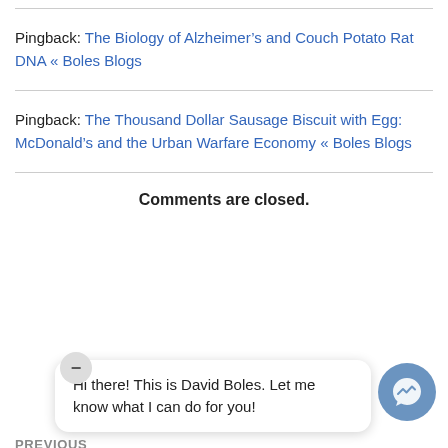Pingback: The Biology of Alzheimer’s and Couch Potato Rat DNA « Boles Blogs
Pingback: The Thousand Dollar Sausage Biscuit with Egg: McDonald’s and the Urban Warfare Economy « Boles Blogs
Comments are closed.
Hi there! This is David Boles. Let me know what I can do for you!
PREVIOUS